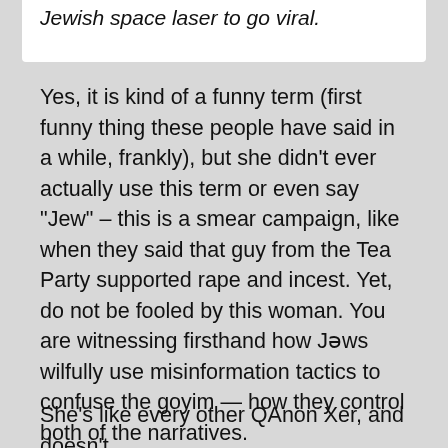Jewish space laser to go viral.
Yes, it is kind of a funny term (first funny thing these people have said in a while, frankly), but she didn't ever actually use this term or even say “Jew” – this is a smear campaign, like when they said that guy from the Tea Party supported rape and incest. Yet, do not be fooled by this woman. You are witnessing firsthand how Jəws wilfully use misinformation tactics to confuse the goyim — how they control both of the narratives.
She’s like every other QAnon Xer, and doesn’t